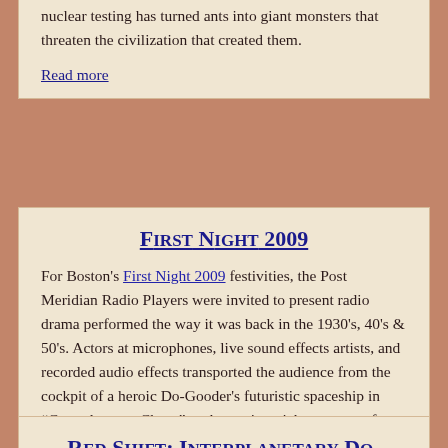nuclear testing has turned ants into giant monsters that threaten the civilization that created them.
Read more
First Night 2009
For Boston's First Night 2009 festivities, the Post Meridian Radio Players were invited to present radio drama performed the way it was back in the 1930's, 40's & 50's. Actors at microphones, live sound effects artists, and recorded audio effects transported the audience from the cockpit of a heroic Do-Gooder's futuristic spaceship in “Countdown to Chaos” to the panic-stricken streets of a city doomed by science gone wrong in “Chicken Heart”!
Read more
Red Shift: Interplanetary Do-